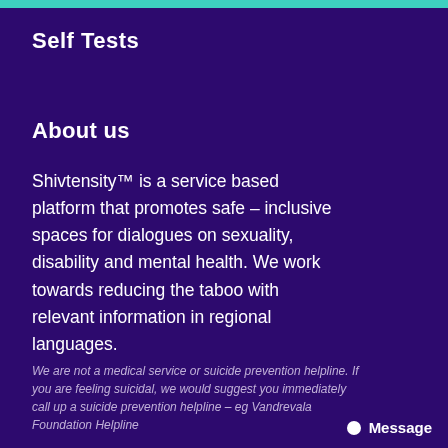Self Tests
About us
Shivtensity™ is a service based platform that promotes safe – inclusive spaces for dialogues on sexuality, disability and mental health. We work towards reducing the taboo with relevant information in regional languages.
We are not a medical service or suicide prevention helpline. If you are feeling suicidal, we would suggest you immediately call up a suicide prevention helpline – eg Vandrevala Foundation Helpline
Message